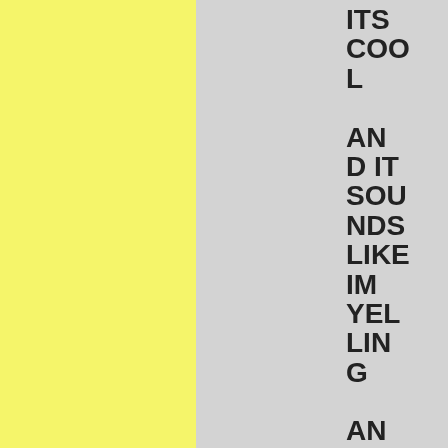[Figure (illustration): Three vertical colored columns: left column is yellow, middle column is light gray, right column is light gray with large text reading 'ITS COOL AND IT SOUNDS LIKE IM YELLING AND I LIKE IT. This wasn't bad, but it']
ITS COOL AND IT SOUNDS LIKE IM YELLING AND I LIKE IT. This wasn't bad, but it